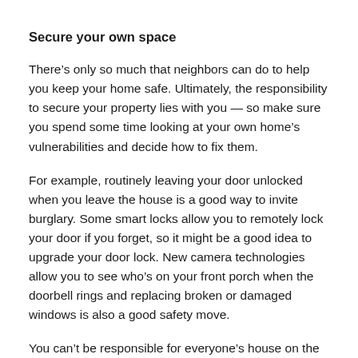Secure your own space
There’s only so much that neighbors can do to help you keep your home safe. Ultimately, the responsibility to secure your property lies with you — so make sure you spend some time looking at your own home’s vulnerabilities and decide how to fix them.
For example, routinely leaving your door unlocked when you leave the house is a good way to invite burglary. Some smart locks allow you to remotely lock your door if you forget, so it might be a good idea to upgrade your door lock. New camera technologies allow you to see who’s on your front porch when the doorbell rings and replacing broken or damaged windows is also a good safety move.
You can’t be responsible for everyone’s house on the block, but if you’re responsible for your own, the odds that you’ll experience a safety violation go down. It’s worth it...